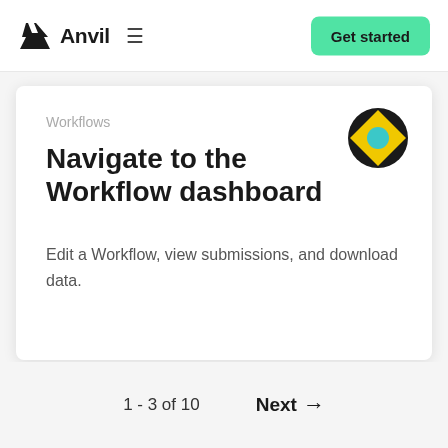Anvil  ≡  Get started
Workflows
Navigate to the Workflow dashboard
Edit a Workflow, view submissions, and download data.
1 - 3 of 10  Next →